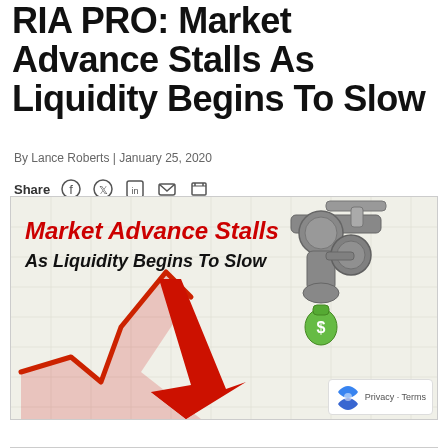RIA PRO: Market Advance Stalls As Liquidity Begins To Slow
By Lance Roberts | January 25, 2020
Share
[Figure (illustration): Infographic with bold red italic text 'Market Advance Stalls' and black italic text 'As Liquidity Begins To Slow', with a red downward-trending stock chart arrow and a gray water faucet illustration with a green dollar sign money bag dripping from it, on a light grid background.]